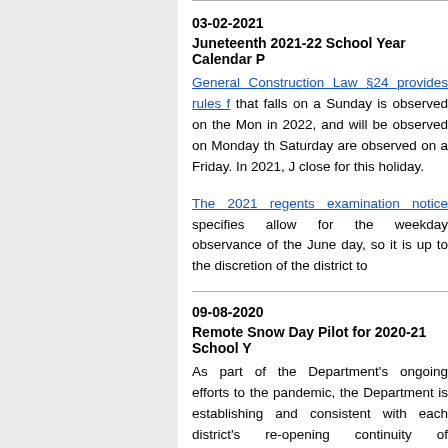03-02-2021
Juneteenth 2021-22 School Year Calendar P
General Construction Law §24 provides rules f that falls on a Sunday is observed on the Mon in 2022, and will be observed on Monday th Saturday are observed on a Friday. In 2021, J close for this holiday.
The 2021 regents examination notice specifies allow for the weekday observance of the June day, so it is up to the discretion of the district to
09-08-2020
Remote Snow Day Pilot for 2020-21 School Y
As part of the Department's ongoing efforts to the pandemic, the Department is establishing and consistent with each district's re-opening continuity of instruction on what would otherwis pilot is in effect for the 2020-21 school year, af in determining whether to continue this flexibilit